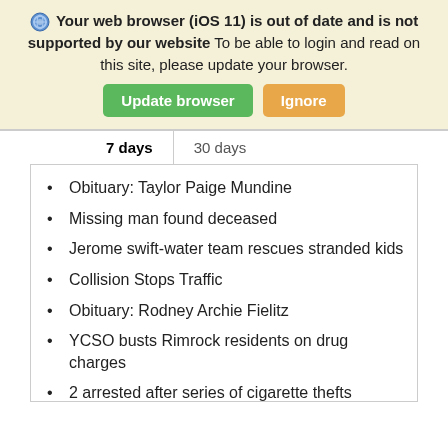🌐 Your web browser (iOS 11) is out of date and is not supported by our website To be able to login and read on this site, please update your browser.
Update browser | Ignore
| 7 days | 30 days |
| --- | --- |
Obituary: Taylor Paige Mundine
Missing man found deceased
Jerome swift-water team rescues stranded kids
Collision Stops Traffic
Obituary: Rodney Archie Fielitz
YCSO busts Rimrock residents on drug charges
2 arrested after series of cigarette thefts
Interim CEO: Primary healthcare focus of NAH investment in Verde Valley